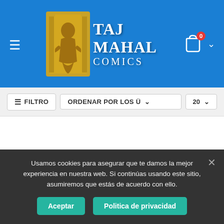[Figure (logo): Taj Mahal Comics logo with golden statue figure on blue background header]
FILTRO
ORDENAR POR LOS Ü
20
WELCOME TO THE SWORD COAST—a region of Faerûn that comprises shining paragons of civilization and culture, perilous locales fraught with dread a...
Editorial Juego   Rol – Inglés
Usamos cookies para asegurar que te damos la mejor experiencia en nuestra web. Si continúas usando este sitio, asumiremos que estás de acuerdo con ello.
Aceptar
Politica de privacidad